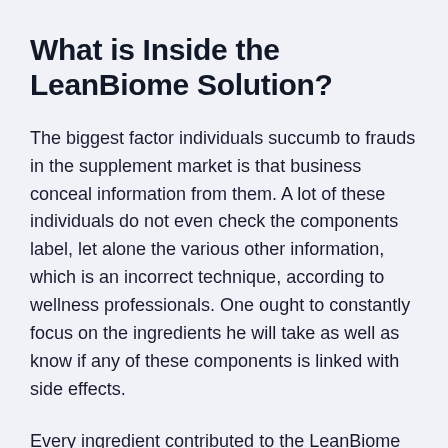What is Inside the LeanBiome Solution?
The biggest factor individuals succumb to frauds in the supplement market is that business conceal information from them. A lot of these individuals do not even check the components label, let alone the various other information, which is an incorrect technique, according to wellness professionals. One ought to constantly focus on the ingredients he will take as well as know if any of these components is linked with side effects.
Every ingredient contributed to the LeanBiome formula is picked after undergoing the research